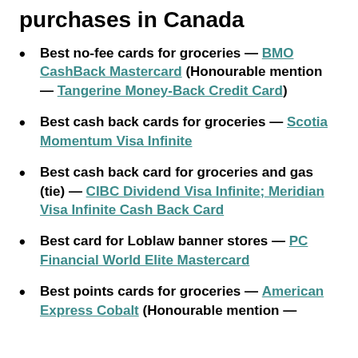purchases in Canada
Best no-fee cards for groceries — BMO CashBack Mastercard (Honourable mention — Tangerine Money-Back Credit Card)
Best cash back cards for groceries — Scotia Momentum Visa Infinite
Best cash back card for groceries and gas (tie) — CIBC Dividend Visa Infinite; Meridian Visa Infinite Cash Back Card
Best card for Loblaw banner stores — PC Financial World Elite Mastercard
Best points cards for groceries — American Express Cobalt (Honourable mention —